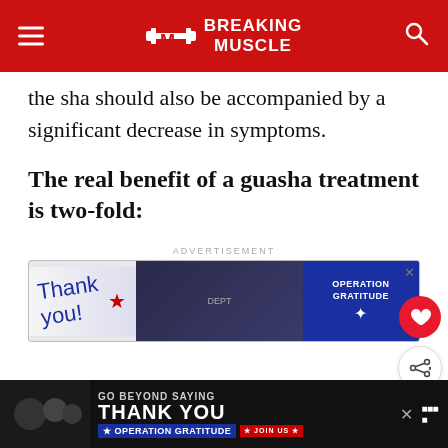Breaking Muscle
the sha should also be accompanied by a significant decrease in symptoms.
The real benefit of a guasha treatment is two-fold:
[Figure (screenshot): Advertisement banner for Operation Gratitude showing 'Thank you!' handwritten text with firefighters and Operation Gratitude logo]
[Figure (screenshot): Bottom advertisement for Operation Gratitude: 'Go Beyond Saying Thank You' with Join Us button]